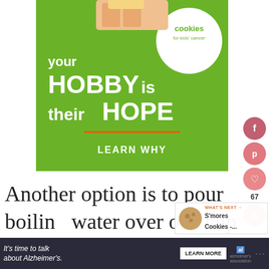[Figure (infographic): Green advertisement banner for 'Cookies for Kids' Cancer' with text 'your HOBBY is their HOPE - LEARN WHY' and a Cookies for Kids Cancer circular logo]
Another option is to pour boiling water over one cup of raisins and let them sit for 5 minu... Then add the drained raisins to
[Figure (infographic): What's Next panel showing S'mores Cookies thumbnail and text]
[Figure (infographic): Social media sidebar with Facebook, Pinterest, heart/save buttons, count 67, and share button]
It's time to talk about Alzheimer's. LEARN MORE alzheimer's association